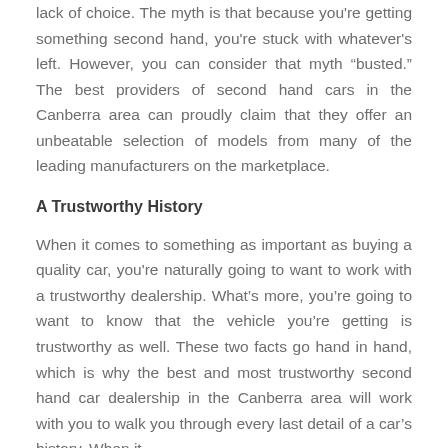lack of choice. The myth is that because you're getting something second hand, you're stuck with whatever's left. However, you can consider that myth “busted.” The best providers of second hand cars in the Canberra area can proudly claim that they offer an unbeatable selection of models from many of the leading manufacturers on the marketplace.
A Trustworthy History
When it comes to something as important as buying a quality car, you're naturally going to want to work with a trustworthy dealership. What’s more, you’re going to want to know that the vehicle you’re getting is trustworthy as well. These two facts go hand in hand, which is why the best and most trustworthy second hand car dealership in the Canberra area will work with you to walk you through every last detail of a car's history. When it